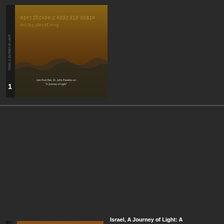[Figure (photo): DVD case top portion showing ancient manuscript text on parchment/stone background, partially visible]
[Figure (photo): DVD case for 'Israel, A Journey of Light: A Jewish Hope' showing Jesus on the cross against warm orange/amber background, with title text on case]
Israel, A Journey of Light: A
In this unit, Rev. Dr. John of Jesus and His first follo Abraham was fulfilled, in Jesus, events which had a opponents, Saul of Tarsus instrumental in rekindling Roman rule over Israel. L developed in the ancient w is yet another gift that car